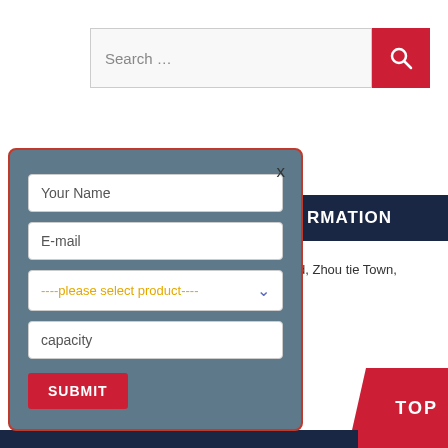[Figure (screenshot): Search input bar with red search button on the right]
[Figure (screenshot): Modal contact form with fields: Your Name, E-mail, product select dropdown, capacity, and a red SUBMIT button. Has an X close button. Background is teal/slate blue with red border.]
[Figure (screenshot): Dark navy header block partially visible behind modal showing text 'RMATION']
d, Zhou tie Town,
TEL: +86-13506151129
Contact us now
[Figure (screenshot): Red TOP button in bottom right corner with dark navy bar at bottom]